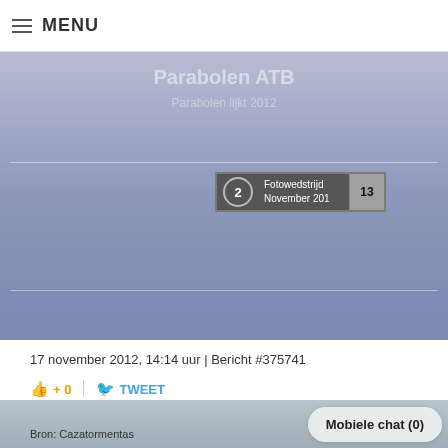MENU
[Figure (screenshot): Blue banner with faded title text 'Parabolen ATB' and subtitle, horizontal rules, and a tab element showing '2 Fotowedstrijd November 201' with count '13']
17 november 2012, 14:14 uur | Bericht #375741
+ 0   TWEET
Bron: Cazatormentas
Mobiele chat (0)